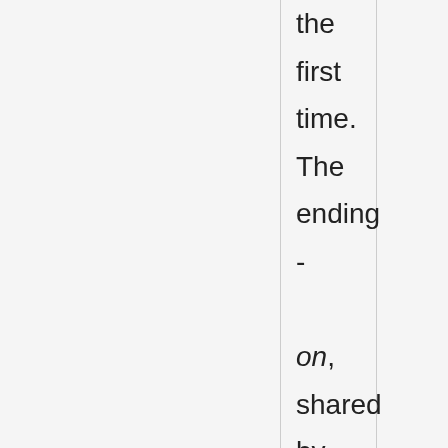the first time. The ending - on, shared by most subatomic particles, was used in